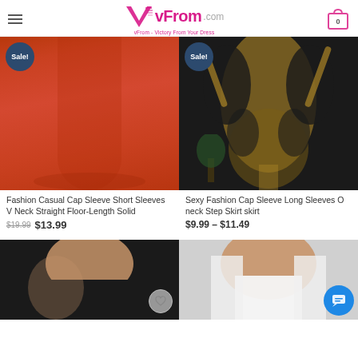vFrom.com — vFrom - Victory From Your Dress
[Figure (photo): Red maxi dress product photo with Sale! badge]
[Figure (photo): Black and gold pattern long sleeve dress product photo with Sale! badge]
Fashion Casual Cap Sleeve Short Sleeves V Neck Straight Floor-Length Solid
$19.99  $13.99
Sexy Fashion Cap Sleeve Long Sleeves O neck Step Skirt skirt
$9.99 – $11.49
[Figure (photo): Black dress product photo with heart/wishlist button]
[Figure (photo): White dress product photo]